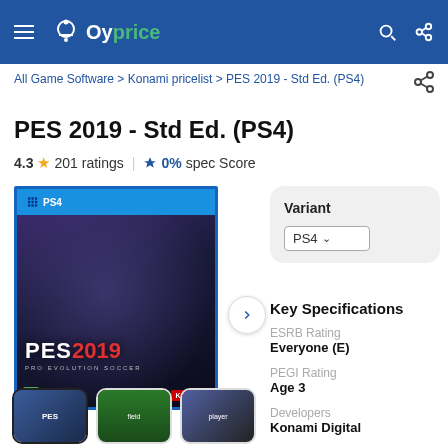Oyprice
All Game Software > Konami pricelist > PES 2019 - Std Ed. (PS4)
PES 2019 - Std Ed. (PS4)
4.3 ★ 201 ratings | 🏆 0% spec Score
[Figure (photo): PES 2019 PS4 game box cover showing a soccer player celebrating, with PS4 logo, PES 2019 Pro Evolution Soccer branding, age rating 3 and Konami logo]
Variant
PS4 ▾
Key Specifications
ESRB Rating
Everyone (E)
PEGI Rating
Age 3
Developers
Konami Digital